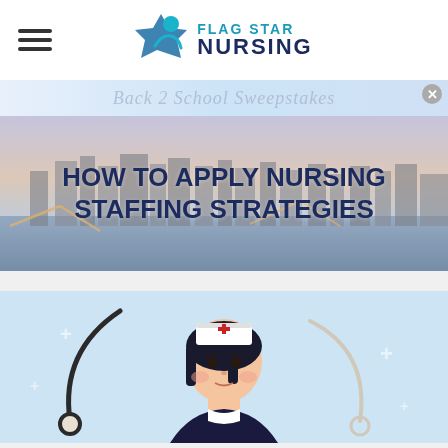[Figure (logo): Flag Star Nursing logo with teal star icon and blue text reading FLAG STAR NURSING]
[Figure (infographic): Horizontal banner with watermark-style italic text reading 'Back 2 School Sweepstakes' with close button]
[Figure (photo): Aerial cityscape photo of Pittsburgh with rivers and bridges, used as hero banner background]
HOW TO APPLY NURSING STAFFING STRATEGIES
[Figure (illustration): Cartoon-style illustration of a nurse in white cap with red cross and stethoscope on light blue background]